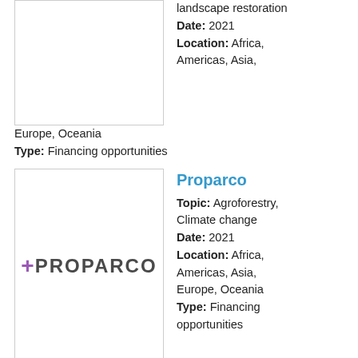landscape restoration
Date: 2021
Location: Africa, Americas, Asia, Europe, Oceania
Type: Financing opportunities
Proparco
Topic: Agroforestry, Climate change
Date: 2021
Location: Africa, Americas, Asia, Europe, Oceania
Type: Financing opportunities
[Figure (logo): Proparco logo — '+PROPARCO' text with purple plus sign]
International Fund for Agricultural Development
Topic: Agroforestry
[Figure (logo): IFAD logo with emblem and IFAD wordmark]